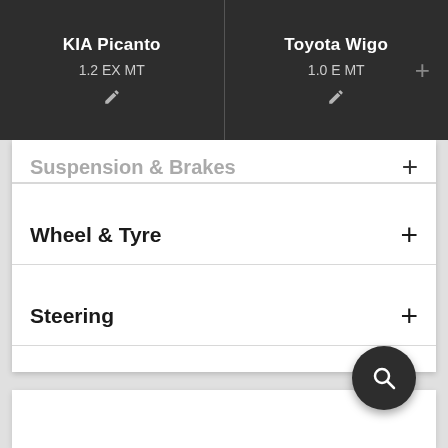KIA Picanto 1.2 EX MT | Toyota Wigo 1.0 E MT
Suspension & Brakes
Wheel & Tyre
Steering
[Figure (screenshot): Search FAB button (magnifying glass icon on dark circular button)]